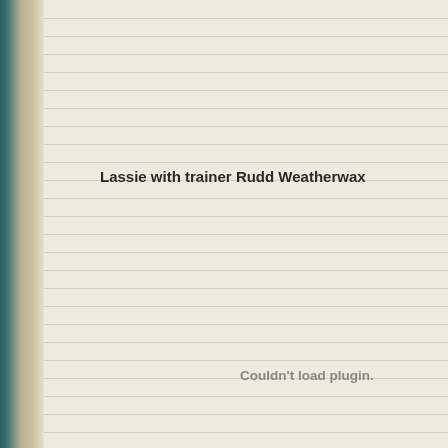Lassie with trainer Rudd Weatherwax
Couldn't load plugin.